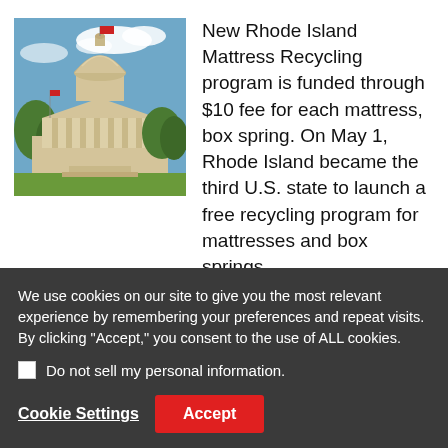[Figure (photo): Photo of a government building (Rhode Island State Capitol) with a large dome, flags, and trees under a blue sky with clouds]
New Rhode Island Mattress Recycling program is funded through $10 fee for each mattress, box spring. On May 1, Rhode Island became the third U.S. state to launch a free recycling program for mattresses and box springs.
The program, called Bye Bye Mattress, establishes free collection points in cities and towns across the state...
We use cookies on our site to give you the most relevant experience by remembering your preferences and repeat visits. By clicking "Accept," you consent to the use of ALL cookies.
Do not sell my personal information.